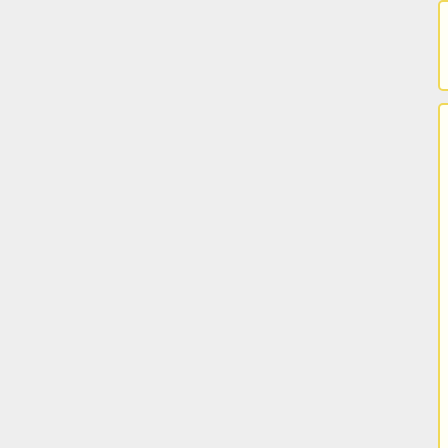and clustering metric ====
It has been suggested that the use of the mean average in the calculation of the above statistics is too volatile as it is influenced by outliers and we should therefore use the median average. Outliers easily sneak into any ground truth or can be caused by choosing a bad segment of the song. However it should be noted that if a participant selects a poor segment from a song that is